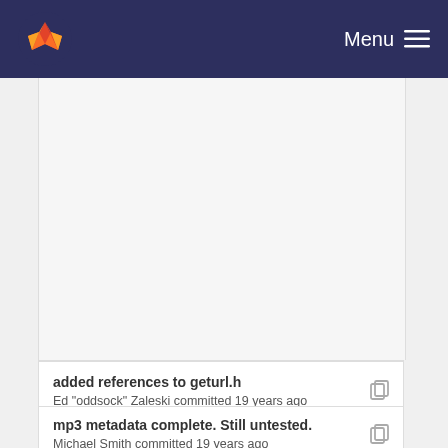GitLab — Menu
added references to geturl.h
Ed "oddsock" Zaleski committed 19 years ago
mp3 metadata complete. Still untested.
Michael Smith committed 19 years ago